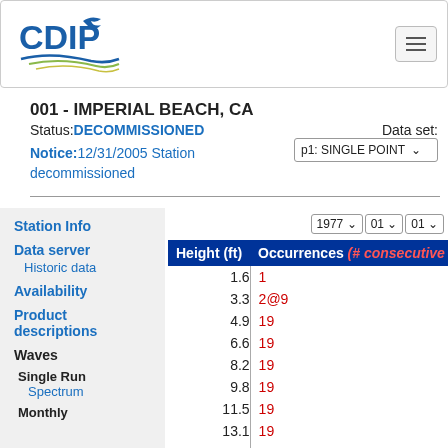[Figure (logo): CDIP logo with seagull and wave graphic]
001 - IMPERIAL BEACH, CA
Status: DECOMMISSIONED
Data set:
Notice:12/31/2005 Station decommissioned
p1: SINGLE POINT
Station Info
Data server
Historic data
Availability
Product descriptions
Waves
Single Run
Spectrum
Monthly
| Height (ft) | Occurrences (# consecutive da... |
| --- | --- |
| 1.6 | 1 |
| 3.3 | 2@9 |
| 4.9 | 19 |
| 6.6 | 19 |
| 8.2 | 19 |
| 9.8 | 19 |
| 11.5 | 19 |
| 13.1 | 19 |
| 14.8 | 19 |
| 16.4 | 19 |
| 18.0 | 19 |
| 19.7 | 19 |